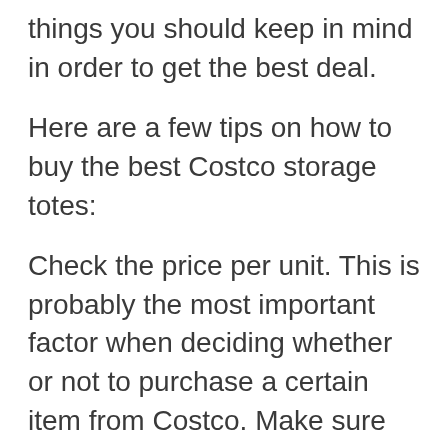things you should keep in mind in order to get the best deal.
Here are a few tips on how to buy the best Costco storage totes:
Check the price per unit. This is probably the most important factor when deciding whether or not to purchase a certain item from Costco. Make sure you’re getting the best bang for your buck by checking the price per unit instead of just the total price.
Costco is known for having great customer